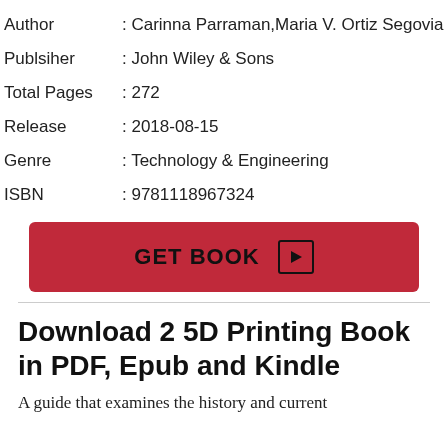| Author | : Carinna Parraman,Maria V. Ortiz Segovia |
| Publsiher | : John Wiley & Sons |
| Total Pages | : 272 |
| Release | : 2018-08-15 |
| Genre | : Technology & Engineering |
| ISBN | : 9781118967324 |
[Figure (other): Red GET BOOK button with play icon]
Download 2 5D Printing Book in PDF, Epub and Kindle
A guide that examines the history and current